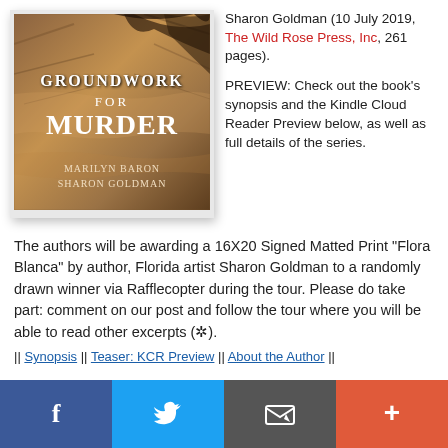[Figure (illustration): Book cover for 'Groundwork for Murder' by Marilyn Baron and Sharon Goldman, showing earthy brown tones with fossil/rock texture background and white serif title text.]
Sharon Goldman (10 July 2019, The Wild Rose Press, Inc, 261 pages).
PREVIEW: Check out the book's synopsis and the Kindle Cloud Reader Preview below, as well as full details of the series.
The authors will be awarding a 16X20 Signed Matted Print "Flora Blanca" by author, Florida artist Sharon Goldman to a randomly drawn winner via Rafflecopter during the tour. Please do take part: comment on our post and follow the tour where you will be able to read other excerpts (✲).
|| Synopsis || Teaser: KCR Preview || About the Author ||